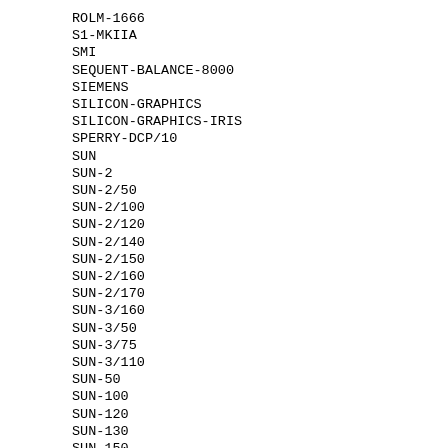ROLM-1666
S1-MKIIA
SMI
SEQUENT-BALANCE-8000
SIEMENS
SILICON-GRAPHICS
SILICON-GRAPHICS-IRIS
SPERRY-DCP/10
SUN
SUN-2
SUN-2/50
SUN-2/100
SUN-2/120
SUN-2/140
SUN-2/150
SUN-2/160
SUN-2/170
SUN-3/160
SUN-3/50
SUN-3/75
SUN-3/110
SUN-50
SUN-100
SUN-120
SUN-130
SUN-150
SUN-170
SUN-68000
SYMBOLICS-3600
SYMBOLICS-3670